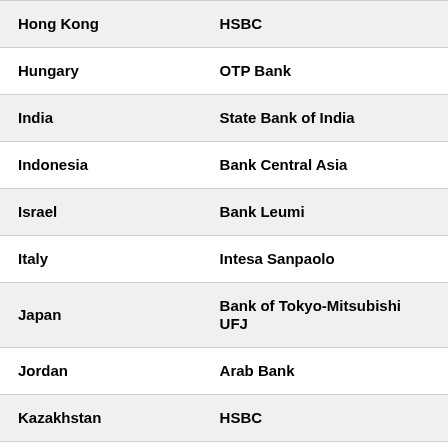| Country | Bank |
| --- | --- |
| Hong Kong | HSBC |
| Hungary | OTP Bank |
| India | State Bank of India |
| Indonesia | Bank Central Asia |
| Israel | Bank Leumi |
| Italy | Intesa Sanpaolo |
| Japan | Bank of Tokyo-Mitsubishi UFJ |
| Jordan | Arab Bank |
| Kazakhstan | HSBC |
| Kenya | Barclays Bank of Kenya |